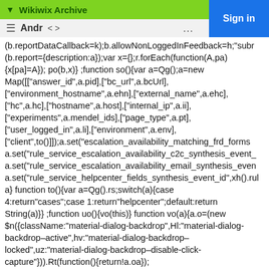Wikiwix Archive
Sign in
(b.reportDataCallback=k);b.allowNonLoggedInFeedback=h;"subr (b.report={description:a});var x={};r.forEach(function(A,pa) {x[pa]=A}); po(b,x)} ;function so(){var a=Qg();a=new Map([["answer_id",a.pid],["bc_url",a.bcUrl], ["environment_hostname",a.ehn],["external_name",a.ehc], ["hc",a.hc],["hostname",a.host],["internal_ip",a.ii], ["experiments",a.mendel_ids],["page_type",a.pt], ["user_logged_in",a.li],["environment",a.env], ["client",to()]]);a.set("escalation_availability_matching_frd_forms a.set("rule_service_escalation_availability_c2c_synthesis_event_ a.set("rule_service_escalation_availability_email_synthesis_even a.set("rule_service_helpcenter_fields_synthesis_event_id",xh().rul a} function to(){var a=Qg().rs;switch(a){case 4:return"cases";case 1:return"helpcenter";default:return String(a)}} ;function uo(){vo(this)} function vo(a){a.o=(new $n({className:"material-dialog-backdrop",Hl:"material-dialog-backdrop–active",hv:"material-dialog-backdrop–locked",uz:"material-dialog-backdrop–disable-click-capture"})).Rt(function(){return!a.oa});